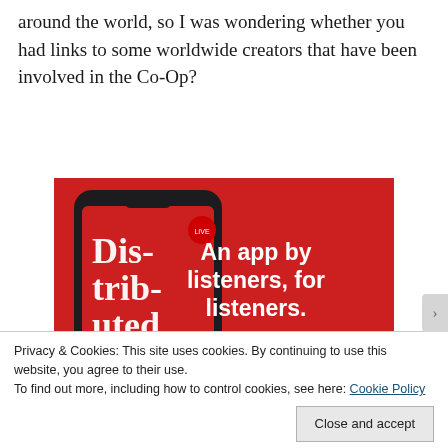around the world, so I was wondering whether you had links to some worldwide creators that have been involved in the Co-Op?
[Figure (screenshot): Advertisement banner on a red background showing a smartphone with a podcast app displaying 'Distributed' podcast. Text reads 'An app by listeners, for listeners.' with a 'Download now' button.]
Privacy & Cookies: This site uses cookies. By continuing to use this website, you agree to their use.
To find out more, including how to control cookies, see here: Cookie Policy
Close and accept